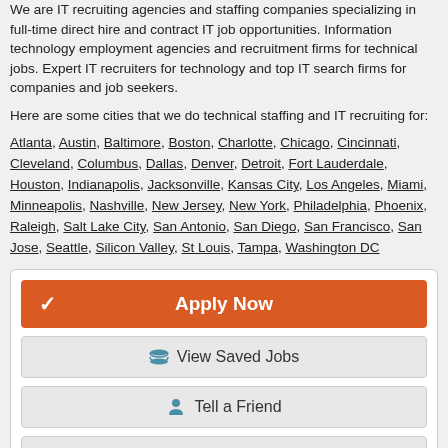We are IT recruiting agencies and staffing companies specializing in full-time direct hire and contract IT job opportunities. Information technology employment agencies and recruitment firms for technical jobs. Expert IT recruiters for technology and top IT search firms for companies and job seekers.
Here are some cities that we do technical staffing and IT recruiting for:
Atlanta, Austin, Baltimore, Boston, Charlotte, Chicago, Cincinnati, Cleveland, Columbus, Dallas, Denver, Detroit, Fort Lauderdale, Houston, Indianapolis, Jacksonville, Kansas City, Los Angeles, Miami, Minneapolis, Nashville, New Jersey, New York, Philadelphia, Phoenix, Raleigh, Salt Lake City, San Antonio, San Diego, San Francisco, San Jose, Seattle, Silicon Valley, St Louis, Tampa, Washington DC
[Figure (screenshot): Apply Now button (orange), View Saved Jobs button (gray), Tell a Friend button (gray), Flag This Job button (gray, partially visible)]